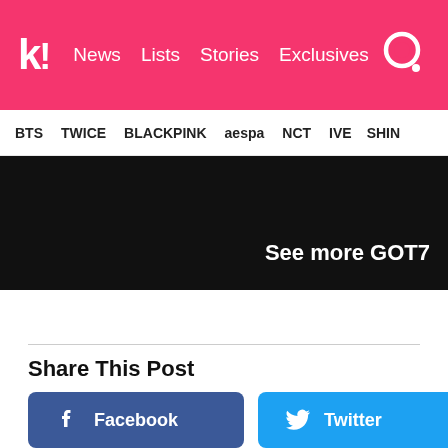k! News  Lists  Stories  Exclusives
BTS  TWICE  BLACKPINK  aespa  NCT  IVE  SHINee
See more GOT7
Share This Post
Facebook
Twitter
FOR YOU